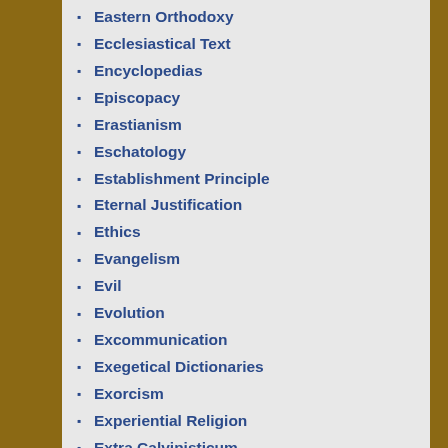Eastern Orthodoxy
Ecclesiastical Text
Encyclopedias
Episcopacy
Erastianism
Eschatology
Establishment Principle
Eternal Justification
Ethics
Evangelism
Evil
Evolution
Excommunication
Exegetical Dictionaries
Exorcism
Experiential Religion
Extra Calvinisticum
Extraordinary Acts of Church Government
Extraordinary Calling
Faith
Family
Family Worship